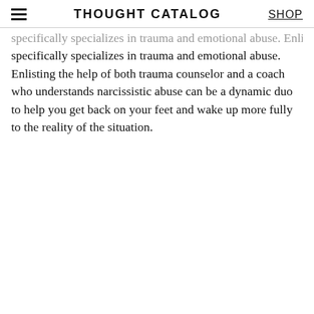THOUGHT CATALOG | SHOP
specifically specializes in trauma and emotional abuse. Enlisting the help of both trauma counselor and a coach who understands narcissistic abuse can be a dynamic duo to help you get back on your feet and wake up more fully to the reality of the situation.